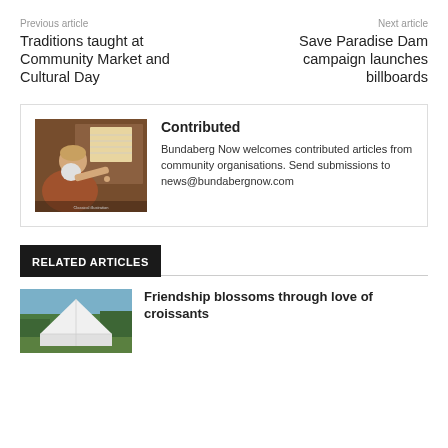Previous article
Traditions taught at Community Market and Cultural Day
Next article
Save Paradise Dam campaign launches billboards
Contributed
Bundaberg Now welcomes contributed articles from community organisations. Send submissions to news@bundabergnow.com
[Figure (illustration): Classical painting of an elderly bearded man reading or writing at a desk with books and instruments]
RELATED ARTICLES
[Figure (photo): Outdoor photo of a white tent or pavilion structure among trees]
Friendship blossoms through love of croissants